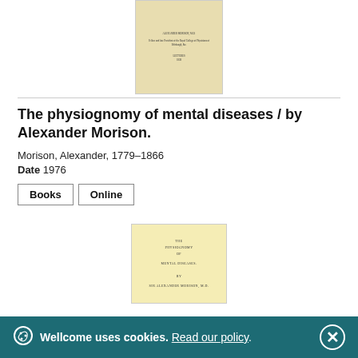[Figure (photo): Scanned title page of an old book with beige/yellowed pages, partially visible text including author name and publisher details at top]
The physiognomy of mental diseases / by Alexander Morison.
Morison, Alexander, 1779–1866
Date  1976
Books   Online
[Figure (photo): Scanned title page of book reading: THE PHYSIOGNOMY OF MENTAL DISEASES. BY SIR ALEXANDER MORISON, M.D.]
Wellcome uses cookies. Read our policy.